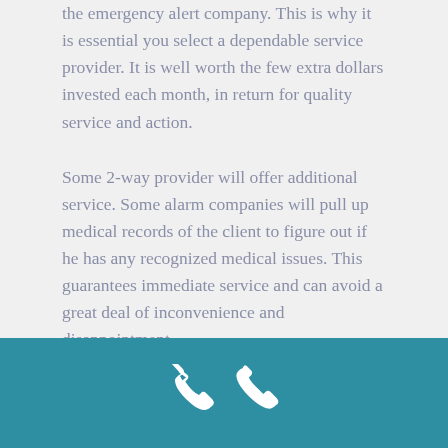the emergency alert company. This is why it is essential you select a dependable service provider. It is well worth the few extra dollars invested each month, in return for quality service and action.
Some 2-way provider will offer additional service. Some alarm companies will pull up medical records of the client to figure out if he has any recognized medical issues. This guarantees immediate service and can avoid a great deal of inconvenience and disappointment.
Panic buttons for the elderly can be worn as a bracelet, pendant or on the belt. They are generally water proof so there is no problems with
[Figure (illustration): Teal/blue footer bar with a white telephone handset icon centered within it]